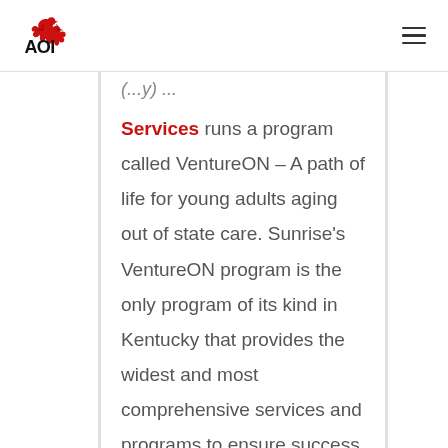AOI [logo] [hamburger menu]
(... y) ... Services runs a program called VentureON – A path of life for young adults aging out of state care. Sunrise's VentureON program is the only program of its kind in Kentucky that provides the widest and most comprehensive services and programs to ensure success, bringing private businesses and industry, faith-based organizations, and the Commonwealth together to